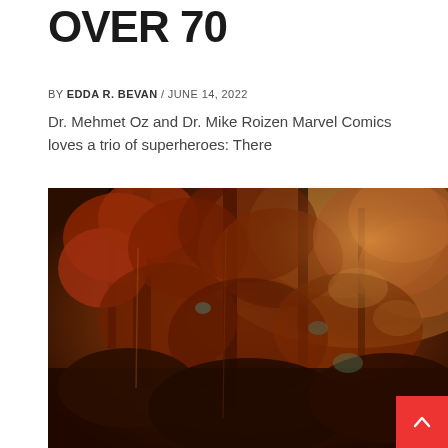OVER 70
BY EDDA R. BEVAN / JUNE 14, 2022
Dr. Mehmet Oz and Dr. Mike Roizen Marvel Comics loves a trio of superheroes: There
[Figure (photo): Autumn forest scene with red and orange foliage, trees with warm golden backlighting creating a dramatic atmospheric effect]